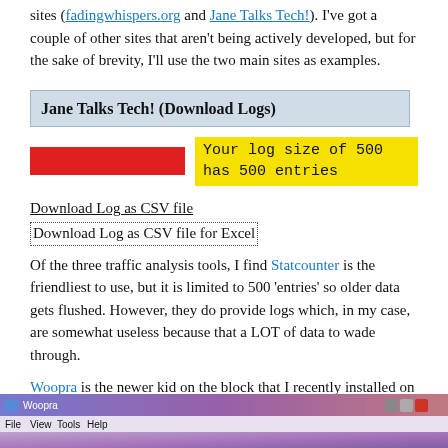sites (fadingwhispers.org and Jane Talks Tech!). I've got a couple of other sites that aren't being actively developed, but for the sake of brevity, I'll use the two main sites as examples.
Jane Talks Tech! (Download Logs)
Your log size of 500 has 500 entries
Download Log as CSV file
Download Log as CSV file for Excel
Of the three traffic analysis tools, I find Statcounter is the friendliest to use, but it is limited to 500 'entries' so older data gets flushed. However, they do provide logs which, in my case, are somewhat useless because that a LOT of data to wade through.
Woopra is the newer kid on the block that I recently installed on both sites. The jury is still out on Woopra, but thus far, I've been thoroughly impressed with the accompanying Woopra desktop client which can show you live data on visitors! My site does not have that much traffic yet, but that is really icing on the cake. Check out the main dashboard for Woopra:
[Figure (screenshot): Screenshot of the Woopra desktop application showing title bar, menu bar with File, View, Tools, Help options, and a purple/gradient body area]